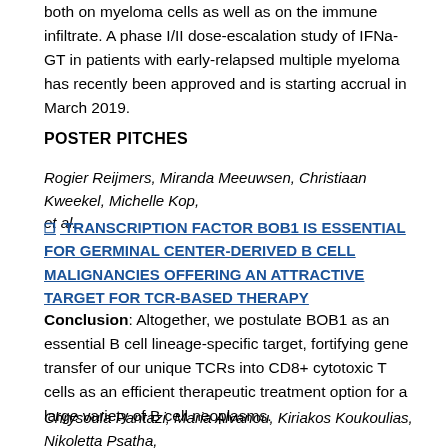both on myeloma cells as well as on the immune infiltrate. A phase I/II dose-escalation study of IFNa-GT in patients with early-relapsed multiple myeloma has recently been approved and is starting accrual in March 2019.
POSTER PITCHES
Rogier Reijmers, Miranda Meeuwsen, Christiaan Kweekel, Michelle Kop, et al.
TRANSCRIPTION FACTOR BOB1 IS ESSENTIAL FOR GERMINAL CENTER-DERIVED B CELL MALIGNANCIES OFFERING AN ATTRACTIVE TARGET FOR TCR-BASED THERAPY
Conclusion: Altogether, we postulate BOB1 as an essential B cell lineage-specific target, fortifying gene transfer of our unique TCRs into CD8+ cytotoxic T cells as an efficient therapeutic treatment option for a large variety of B cell neoplasms.
Chrysoula Pantazi, Maria Alvanou, Kiriakos Koukoulias, Nikoletta Psatha, et al.